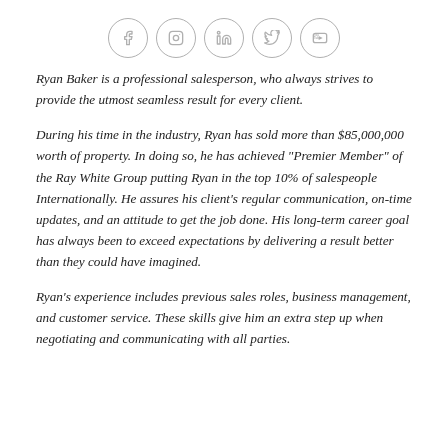[Figure (other): Row of five social media icon circles: Facebook, Instagram, LinkedIn, Twitter, YouTube]
Ryan Baker is a professional salesperson, who always strives to provide the utmost seamless result for every client.
During his time in the industry, Ryan has sold more than $85,000,000 worth of property. In doing so, he has achieved "Premier Member" of the Ray White Group putting Ryan in the top 10% of salespeople Internationally. He assures his client's regular communication, on-time updates, and an attitude to get the job done. His long-term career goal has always been to exceed expectations by delivering a result better than they could have imagined.
Ryan's experience includes previous sales roles, business management, and customer service. These skills give him an extra step up when negotiating and communicating with all parties.